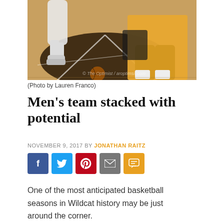[Figure (photo): Basketball players on court, close-up of legs and shoes on decorated court floor, one player in yellow/gold shorts and one in white. Watermark reads © The Optimist / aroptimsit.com]
(Photo by Lauren Franco)
Men’s team stacked with potential
NOVEMBER 9, 2017 BY JONATHAN RAITZ
[Figure (infographic): Social sharing buttons: Facebook, Twitter, Pinterest, Email, SMS]
One of the most anticipated basketball seasons in Wildcat history may be just around the corner.